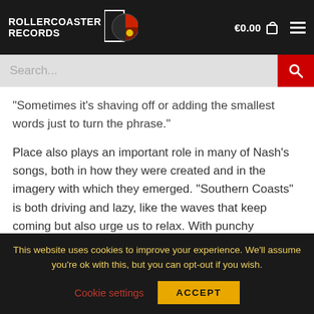Rollercoaster Records — €0.00 cart
“Sometimes it’s shaving off or adding the smallest words just to turn the phrase.”
Place also plays an important role in many of Nash’s songs, both in how they were created and in the imagery with which they emerged. “Southern Coasts” is both driving and lazy, like the waves that keep coming but also urge us to relax. With punchy saxophones and snare, “Indiana” captures feelings of despair and longing for
This website uses cookies to improve your experience. We’ll assume you’re ok with this, but you can opt-out if you wish.
Cookie settings   ACCEPT